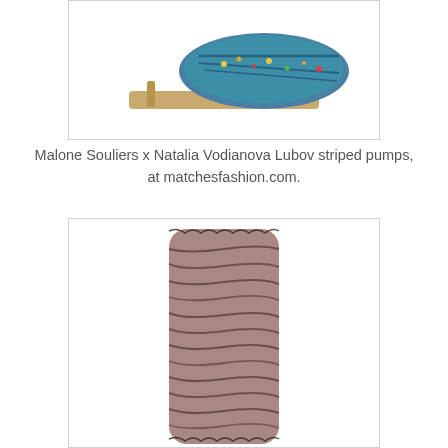[Figure (photo): Partial view of Malone Souliers x Natalia Vodianova Lubov striped pumps on white background, cropped at top]
Malone Souliers x Natalia Vodianova Lubov striped pumps, at matchesfashion.com.
[Figure (photo): A tall ruched stocking or hosiery in mauve/pink tone with dark black overlay lace or mesh, shown vertically on white background]